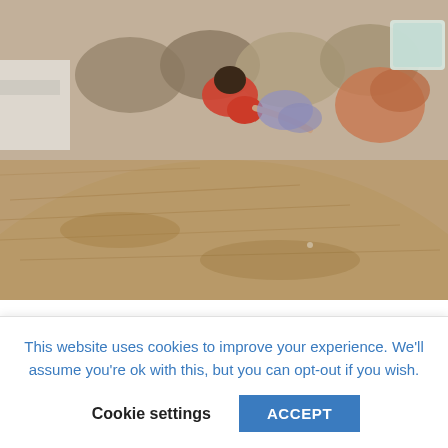[Figure (photo): Photograph showing a person in a red top resting or sheltering among large sandy/concrete surfaces, with fabric and a plastic container visible in the upper right. The lower two-thirds of the image is dominated by a large curved sandy or concrete surface.]
Ulises takes a step forward, then another. His head in a fog, he can
barely see his way forward as he stumbles off the sidewalk and
This website uses cookies to improve your experience. We'll assume you're ok with this, but you can opt-out if you wish.
Cookie settings  ACCEPT